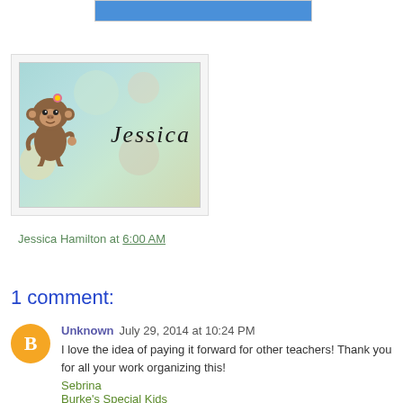[Figure (illustration): Top banner strip with blue background, partially visible]
[Figure (illustration): Jessica Hamilton signature image with cartoon monkey and hand-lettered 'Jessica' text on teal polka-dot background]
Jessica Hamilton at 6:00 AM
Share
1 comment:
Unknown   July 29, 2014 at 10:24 PM
I love the idea of paying it forward for other teachers! Thank you for all your work organizing this!
Sebrina
Burke's Special Kids